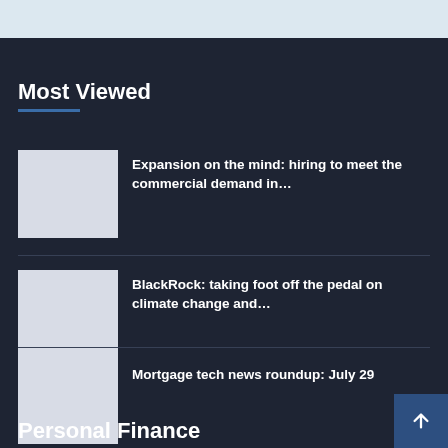Most Viewed
Expansion on the mind: hiring to meet the commercial demand in…
BlackRock: taking foot off the pedal on climate change and…
Mortgage tech news roundup: July 29
Personal Finance